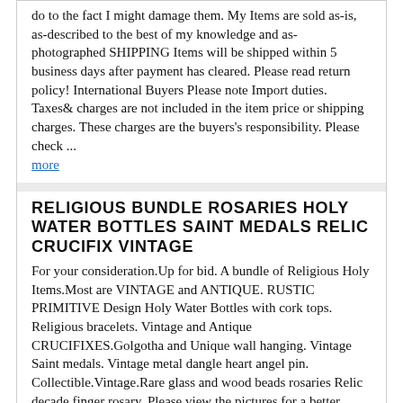do to the fact I might damage them. My Items are sold as-is, as-described to the best of my knowledge and as-photographed SHIPPING Items will be shipped within 5 business days after payment has cleared. Please read return policy! International Buyers Please note Import duties. Taxes& charges are not included in the item price or shipping charges. These charges are the buyers's responsibility. Please check ... more
RELIGIOUS BUNDLE ROSARIES HOLY WATER BOTTLES SAINT MEDALS RELIC CRUCIFIX VINTAGE
For your consideration.Up for bid. A bundle of Religious Holy Items.Most are VINTAGE and ANTIQUE. RUSTIC PRIMITIVE Design Holy Water Bottles with cork tops. Religious bracelets. Vintage and Antique CRUCIFIXES.Golgotha and Unique wall hanging. Vintage Saint medals. Vintage metal dangle heart angel pin. Collectible.Vintage.Rare glass and wood beads rosaries Relic decade finger rosary. Please view the pictures for a better understanding of what you will be bidding on. Payment will be expected within 3 days of the auction ending. Good Luck. g6.RcmdId ViewItemDescV4,RlogId p4%60bo7%60jtb9%3Fuk%601d72f%2B%3Eg6%3E-14798c49eb7-0x105-
21" DELICATE PINK HEART SHAPED BEADS ROSARIES WITH HEART SHAPED TIP CRUCIFIX CSE
This is a 21" long dlicate heart shaped beads rosaries with a heart tipped crucifix. It is in mint condition and comes with the matching pink case. Thanks for bidding. 643.RcmdId ViewItemDescV4,RlogId